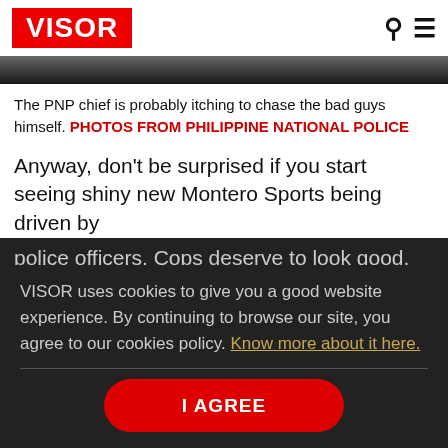VISOR
[Figure (photo): Dark grayscale image strip, partial view of a vehicle]
The PNP chief is probably itching to chase the bad guys himself. PHOTOS FROM PHILIPPINE NATIONAL POLICE
Anyway, don't be surprised if you start seeing shiny new Montero Sports being driven by police officers. Cops deserve to look good, too,
VISOR uses cookies to give you a good website experience. By continuing to browse our site, you agree to our cookies policy. Know more about it here.
I AGREE